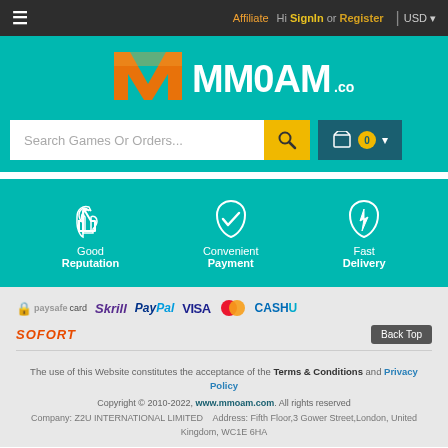≡  Affiliate  Hi SignIn or Register | USD
[Figure (logo): MM0AM.com logo with orange and white stylized letters on teal background]
Search Games Or Orders...
[Figure (infographic): Three feature icons on teal background: thumbs up (Good Reputation), shield checkmark (Convenient Payment), lightning shield (Fast Delivery)]
[Figure (logo): Payment method logos: paysafecard, Skrill, PayPal, VISA, Mastercard, CASHU, SOFORT]
The use of this Website constitutes the acceptance of the Terms & Conditions and Privacy Policy
Copyright © 2010-2022, www.mmoam.com. All rights reserved
Company: Z2U INTERNATIONAL LIMITED    Address: Fifth Floor,3 Gower Street,London, United Kingdom, WC1E 6HA